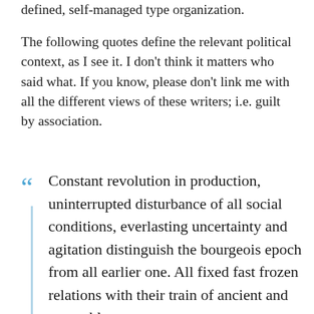defined, self-managed type organization.
The following quotes define the relevant political context, as I see it. I don't think it matters who said what. If you know, please don't link me with all the different views of these writers; i.e. guilt by association.
Constant revolution in production, uninterrupted disturbance of all social conditions, everlasting uncertainty and agitation distinguish the bourgeois epoch from all earlier one. All fixed fast frozen relations with their train of ancient and venerable